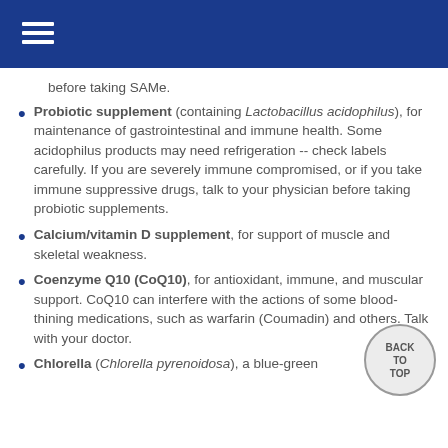before taking SAMe.
Probiotic supplement (containing Lactobacillus acidophilus), for maintenance of gastrointestinal and immune health. Some acidophilus products may need refrigeration -- check labels carefully. If you are severely immune compromised, or if you take immune suppressive drugs, talk to your physician before taking probiotic supplements.
Calcium/vitamin D supplement, for support of muscle and skeletal weakness.
Coenzyme Q10 (CoQ10), for antioxidant, immune, and muscular support. CoQ10 can interfere with the actions of some blood-thining medications, such as warfarin (Coumadin) and others. Talk with your doctor.
Chlorella (Chlorella pyrenoidosa), a blue-green